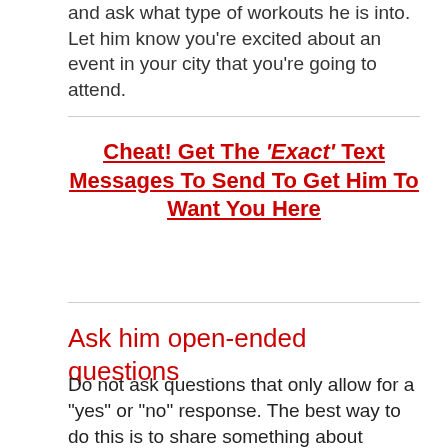and ask what type of workouts he is into. Let him know you’re excited about an event in your city that you’re going to attend.
Cheat! Get The ‘Exact’ Text Messages To Send To Get Him To Want You Here
Ask him open-ended questions
Do not ask questions that only allow for a “yes” or “no” response. The best way to do this is to share something about yourself